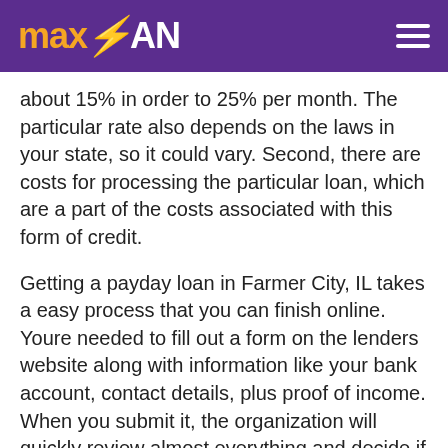maxLOAN
about 15% in order to 25% per month. The particular rate also depends on the laws in your state, so it could vary. Second, there are costs for processing the particular loan, which are a part of the costs associated with this form of credit.
Getting a payday loan in Farmer City, IL takes a easy process that you can finish online. Youre needed to fill out a form on the lenders website along with information like your bank account, contact details, plus proof of income. When you submit it, the organization will quickly review almost everything and decide if youre qualified.
If they require additional information, they will return to you. When the supplier approves your demand, they will transfer the cash to your account within twenty-four